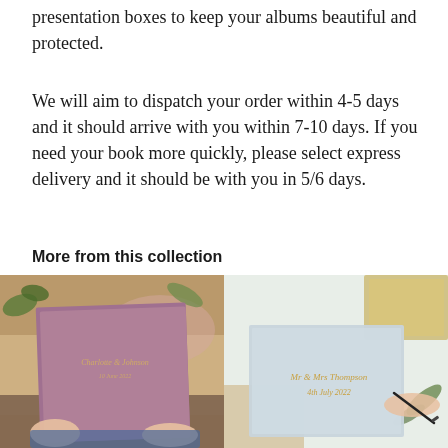presentation boxes to keep your albums beautiful and protected.
We will aim to dispatch your order within 4-5 days and it should arrive with you within 7-10 days. If you need your book more quickly, please select express delivery and it should be with you in 5/6 days.
More from this collection
[Figure (photo): A person holding a mauve/purple hardcover wedding album with gold script text, photographed from above on a wooden table with plants around]
[Figure (photo): A light blue hardcover guest book with gold script text being written on, with a pen in hand, on a light background with a fern leaf]